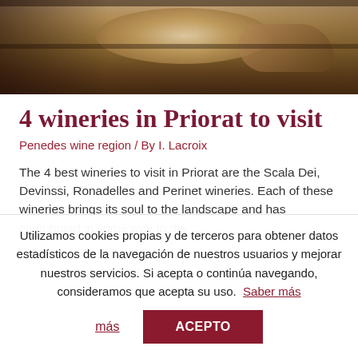[Figure (photo): Photo of a wooden wine barrel being inspected, with a hand reaching toward it in a dark cellar setting.]
4 wineries in Priorat to visit
Penedes wine region / By I. Lacroix
The 4 best wineries to visit in Priorat are the Scala Dei, Devinssi, Ronadelles and Perinet wineries. Each of these wineries brings its soul to the landscape and has contributed in some way to the
Utilizamos cookies propias y de terceros para obtener datos estadísticos de la navegación de nuestros usuarios y mejorar nuestros servicios. Si acepta o continúa navegando, consideramos que acepta su uso. Saber más
ACEPTO